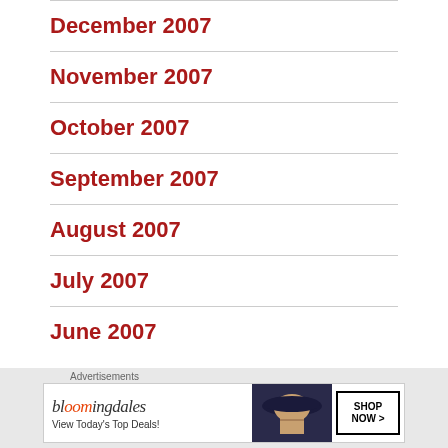December 2007
November 2007
October 2007
September 2007
August 2007
July 2007
June 2007
[Figure (other): Bloomingdales advertisement banner: 'View Today's Top Deals!' with SHOP NOW button and woman in hat image]